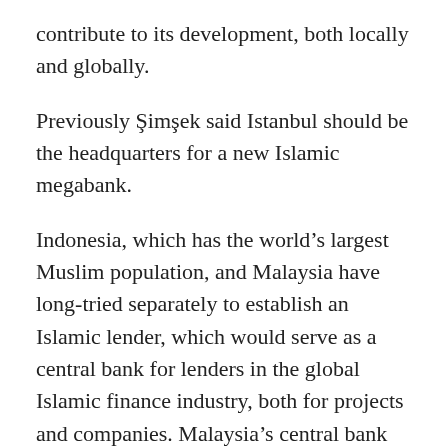contribute to its development, both locally and globally.
Previously Şimşek said Istanbul should be the headquarters for a new Islamic megabank.
Indonesia, which has the world's largest Muslim population, and Malaysia have long-tried separately to establish an Islamic lender, which would serve as a central bank for lenders in the global Islamic finance industry, both for projects and companies. Malaysia's central bank first promoted the idea in 2009 and a three-way merger that collapsed last year. Indonesia has been trying to establish a megabank since 2013. The project is supported by the IDB, and Turkey's initial contribution to the bank's capital is reported to be $300 million.